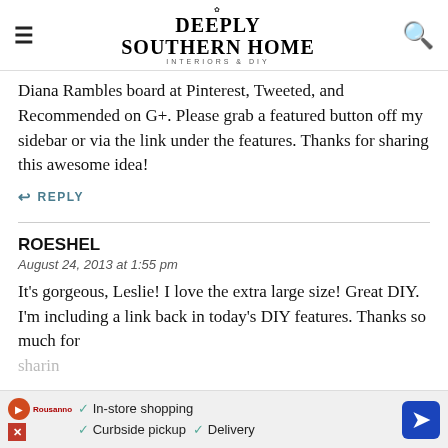DEEPLY SOUTHERN HOME INTERIORS & DIY
Diana Rambles board at Pinterest, Tweeted, and Recommended on G+. Please grab a featured button off my sidebar or via the link under the features. Thanks for sharing this awesome idea!
↩ REPLY
ROESHEL
August 24, 2013 at 1:55 pm
It&#39;s gorgeous, Leslie! I love the extra large size! Great DIY. I&#39;m including a link back in today&#39;s DIY features. Thanks so much for sharin
✓ In-store shopping ✓ Curbside pickup ✓ Delivery